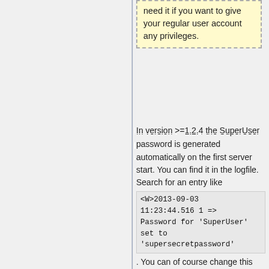need it if you want to give your regular user account any privileges.
In version >=1.2.4 the SuperUser password is generated automatically on the first server start. You can find it in the logfile. Search for an entry like <W>2013-09-03 11:23:44.516 1 => Password for 'SuperUser' set to 'supersecretpassword'. You can of course change this password.
To set/change the password on the Linux static server, run